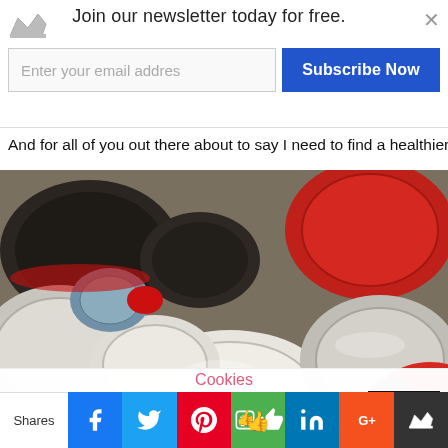Join our newsletter today for free.
And for all of you out there about to say I need to find a healthier s
[Figure (photo): Close-up photo of many plastic bottle caps in various colors: white, red, dark brown/black, piled together.]
Cookies
This website uses cookies to improve your experience. We'll assume you're ok with this, but you can opt-out if you wish.
Shares | Facebook | Twitter | Pinterest | Like | LinkedIn | Google+ | Crown